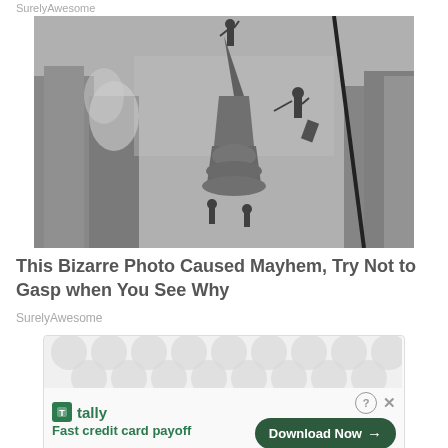SurelyAwesome
[Figure (photo): Black and white historical photo of workers standing on top of a tall building spire or ornate tower high above a city skyline, with one man standing on top with arm raised and another man reaching from a cable or rope to the side.]
This Bizarre Photo Caused Mayhem, Try Not to Gasp when You See Why
SurelyAwesome
[Figure (infographic): Advertisement for Tally app - Fast credit card payoff, with Download Now button and close/info controls. Pattern background with Tally branding in green.]